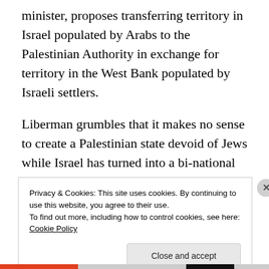minister, proposes transferring territory in Israel populated by Arabs to the Palestinian Authority in exchange for territory in the West Bank populated by Israeli settlers.
Liberman grumbles that it makes no sense to create a Palestinian state devoid of Jews while Israel has turned into a bi-national state with over 20 percent Arabs.
In other words, the Israeli foreign minister wants an Israel completely devoid of Arabs.
This week, Netanyahu echoed the Liberman Plan.
Privacy & Cookies: This site uses cookies. By continuing to use this website, you agree to their use.
To find out more, including how to control cookies, see here: Cookie Policy